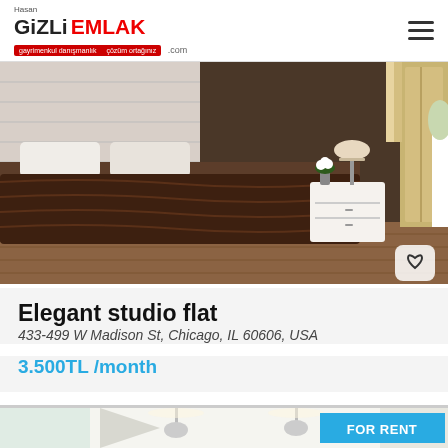[Figure (photo): Logo: Hasan GiZLi EMLAK .com with red and black text]
[Figure (photo): Bedroom photo showing bed with brown duvet, white nightstand, wooden wardrobe]
Elegant studio flat
433-499 W Madison St, Chicago, IL 60606, USA
3.500TL /month
[Figure (photo): Kitchen/living area with pendant lights, white walls, FOR RENT badge in blue]